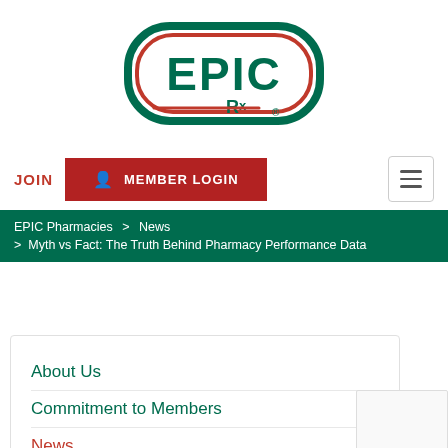[Figure (logo): EPIC Rx logo — green rounded rectangle border with red inner border, 'EPIC' in bold green letters, 'Rx' in green below, registered trademark symbol]
JOIN   MEMBER LOGIN
[Figure (other): Hamburger menu icon button]
EPIC Pharmacies > News > Myth vs Fact: The Truth Behind Pharmacy Performance Data
About Us
Commitment to Members
News